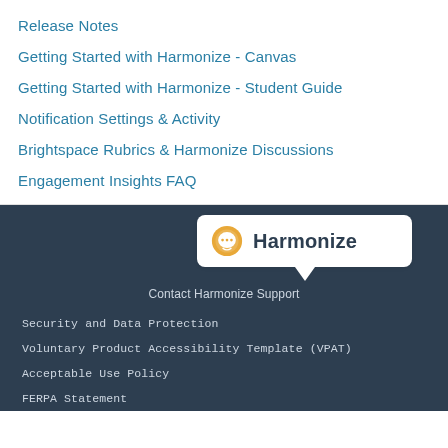Release Notes
Getting Started with Harmonize - Canvas
Getting Started with Harmonize - Student Guide
Notification Settings & Activity
Brightspace Rubrics & Harmonize Discussions
Engagement Insights FAQ
[Figure (logo): Harmonize logo with chat bubble icon and text 'Harmonize' in orange/dark teal styling inside a white speech bubble widget]
Contact Harmonize Support
Security and Data Protection
Voluntary Product Accessibility Template (VPAT)
Acceptable Use Policy
FERPA Statement